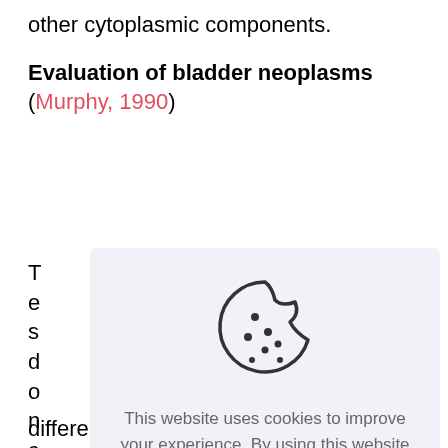other cytoplasmic components.
Evaluation of bladder neoplasms (Murphy, 1990)
T e s d o n c d u d n P n d c u
[Figure (other): Cookie consent overlay showing a cookie icon, text about website cookies policy, a 'Read more' link, and an 'ACCEPT ALL' button on a light gray background]
differential diagnosis of